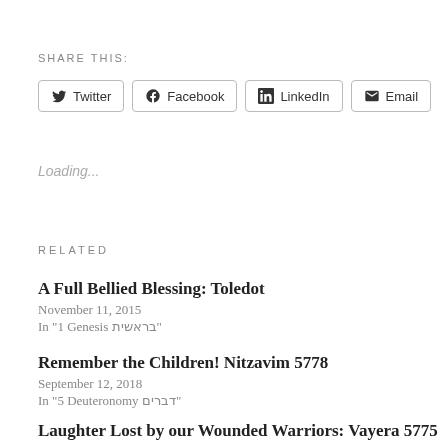SHARE THIS:
Twitter | Facebook | LinkedIn | Email
Loading...
RELATED
A Full Bellied Blessing: Toledot
November 11, 2015
In "1 Genesis בראשית"
Remember the Children! Nitzavim 5778
September 12, 2018
In "5 Deuteronomy דברים"
Laughter Lost by our Wounded Warriors: Vayera 5775
November 7, 2014